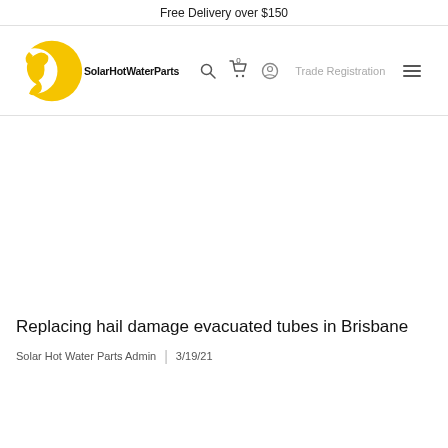Free Delivery over $150
[Figure (logo): SolarHotWaterParts logo: yellow sun/wrench icon with bold text 'SolarHotWaterParts']
Replacing hail damage evacuated tubes in Brisbane
Solar Hot Water Parts Admin | 3/19/21